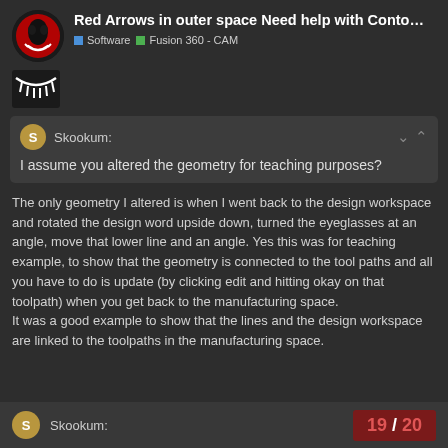Red Arrows in outer space Need help with Conto…
Software | Fusion 360 - CAM
Skookum:
I assume you altered the geometry for teaching purposes?
The only geometry I altered is when I went back to the design workspace and rotated the design word upside down, turned the eyeglasses at an angle, move that lower line and an angle. Yes this was for teaching example, to show that the geometry is connected to the tool paths and all you have to do is update (by clicking edit and hitting okay on that toolpath) when you get back to the manufacturing space.
It was a good example to show that the lines and the design workspace are linked to the toolpaths in the manufacturing space.
Skookum:  19 / 20